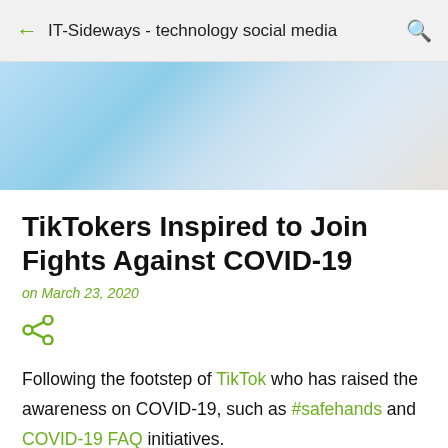IT-Sideways - technology social media
[Figure (photo): Blurred blue and white background hero image]
TikTokers Inspired to Join Fights Against COVID-19
on March 23, 2020
[Figure (other): Share icon (less-than style share symbol)]
Following the footstep of TikTok who has raised the awareness on COVID-19, such as #safehands and COVID-19 FAQ initiatives.